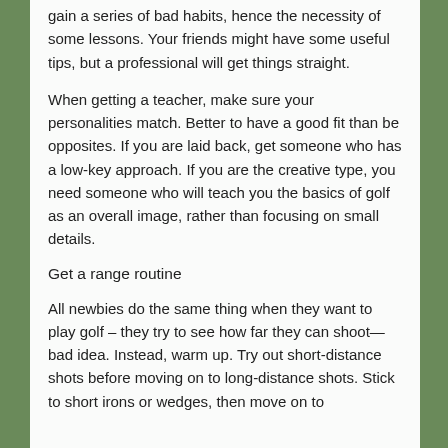gain a series of bad habits, hence the necessity of some lessons. Your friends might have some useful tips, but a professional will get things straight.
When getting a teacher, make sure your personalities match. Better to have a good fit than be opposites. If you are laid back, get someone who has a low-key approach. If you are the creative type, you need someone who will teach you the basics of golf as an overall image, rather than focusing on small details.
Get a range routine
All newbies do the same thing when they want to play golf – they try to see how far they can shoot—bad idea. Instead, warm up. Try out short-distance shots before moving on to long-distance shots. Stick to short irons or wedges, then move on to